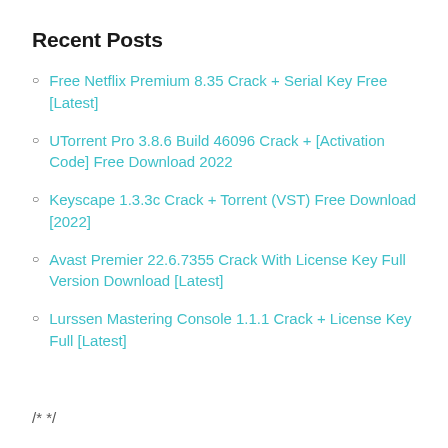Recent Posts
Free Netflix Premium 8.35 Crack + Serial Key Free [Latest]
UTorrent Pro 3.8.6 Build 46096 Crack + [Activation Code] Free Download 2022
Keyscape 1.3.3c Crack + Torrent (VST) Free Download [2022]
Avast Premier 22.6.7355 Crack With License Key Full Version Download [Latest]
Lurssen Mastering Console 1.1.1 Crack + License Key Full [Latest]
/* */